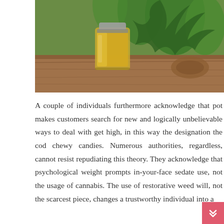[Figure (photo): A glass jar of golden/amber CBD oil on a wooden surface with green cannabis/hemp plant leaves in the background]
A couple of individuals furthermore acknowledge that pot makes customers search for new and logically unbelievable ways to deal with get high, in this way the designation the cod chewy candies. Numerous authorities, regardless, cannot resist repudiating this theory. They acknowledge that psychological weight prompts in-your-face sedate use, not the usage of cannabis. The use of restorative weed will, not the scarcest piece, changes a trustworthy individual into a greed for looking for progressively unbelievable